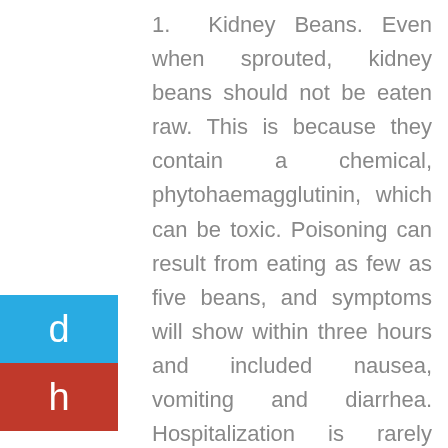1.  Kidney Beans. Even when sprouted, kidney beans should not be eaten raw. This is because they contain a chemical, phytohaemagglutinin, which can be toxic. Poisoning can result from eating as few as five beans, and symptoms will show within three hours and included nausea, vomiting and diarrhea. Hospitalization is rarely needed, unless a very large quantity of raw kidney beans has been eaten.
2. Buckwheat Greens. Interestingly, these are toxic primarily to fair